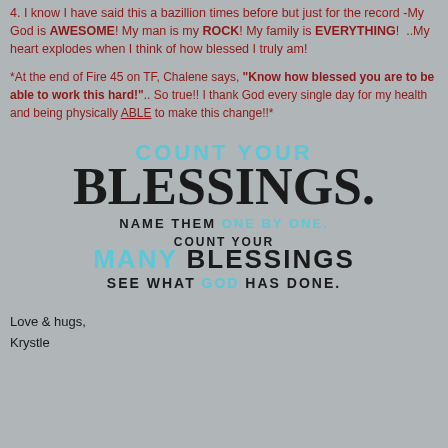4. I know I have said this a bazillion times before but just for the record -My God is AWESOME! My man is my ROCK! My family is EVERYTHING!  ..My heart explodes when I think of how blessed I truly am!
*At the end of Fire 45 on TF, Chalene says, "Know how blessed you are to be able to work this hard!".. So true!! I thank God every single day for my health and being physically ABLE to make this change!!*
[Figure (illustration): Decorative typographic image with text: COUNT YOUR BLESSINGS. NAME THEM ONE BY ONE. COUNT YOUR MANY BLESSINGS SEE WHAT GOD HAS DONE. Text in mixed black and cyan/blue colors with serif and sans-serif fonts.]
Love & hugs,
Krystle